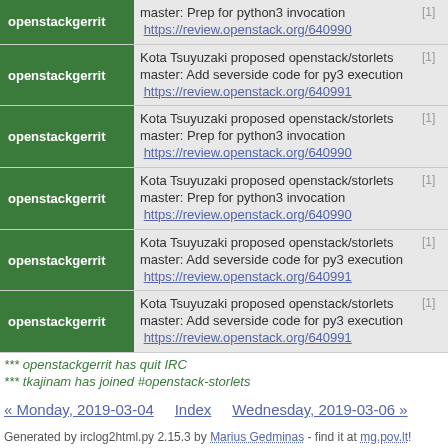| nick | message | time |
| --- | --- | --- |
| openstackgerrit | master: Prep for python3 invocation  https://review.openstack.org/640990 | [1] |
| openstackgerrit | Kota Tsuyuzaki proposed openstack/storlets master: Add severside code for py3 execution  https://review.openstack.org/640991 | [1] |
| openstackgerrit | Kota Tsuyuzaki proposed openstack/storlets master: Prep for python3 invocation  https://review.openstack.org/640990 | [1] |
| openstackgerrit | Kota Tsuyuzaki proposed openstack/storlets master: Prep for python3 invocation  https://review.openstack.org/640990 | [1] |
| openstackgerrit | Kota Tsuyuzaki proposed openstack/storlets master: Add severside code for py3 execution  https://review.openstack.org/640991 | [1] |
| openstackgerrit | Kota Tsuyuzaki proposed openstack/storlets master: Add severside code for py3 execution  https://review.openstack.org/640991 | [1] |
*** openstackgerrit has quit IRC
*** tkajinam has joined #openstack-storlets
« Monday, 2019-03-04    Index    Wednesday, 2019-03-06 »
Generated by irclog2html.py 2.15.3 by Marius Gedminas - find it at mg.pov.lt!